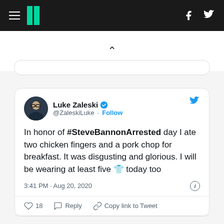HuffPost navigation bar with hamburger menu, logo, Facebook and Twitter icons
[Figure (screenshot): Up-arrow caret symbol indicating scroll up or collapse]
[Figure (screenshot): Tweet by Luke Zaleski (@ZaleskiLuke) with verified badge. Text: 'In honor of #SteveBannonArrested day I ate two chicken fingers and a pork chop for breakfast. It was disgusting and glorious. I will be wearing at least five 👕 today too'. Timestamp: 3:41 PM · Aug 20, 2020. Likes: 18. Actions: Reply, Copy link to Tweet.]